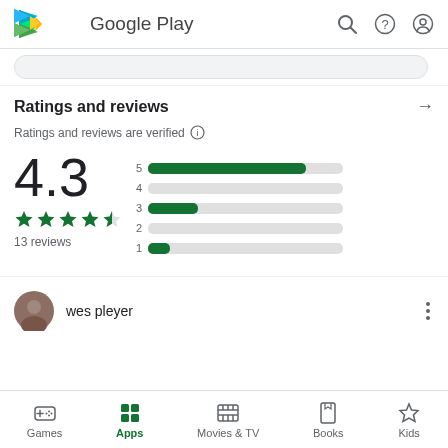Google Play
Ratings and reviews
Ratings and reviews are verified
[Figure (bar-chart): Rating distribution]
4.3
13 reviews
wes pleyer
Games  Apps  Movies & TV  Books  Kids